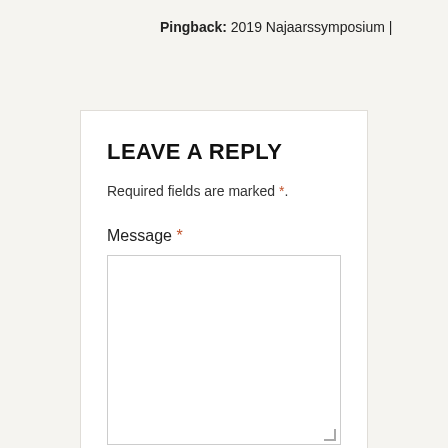Pingback: 2019 Najaarssymposium |
LEAVE A REPLY
Required fields are marked *.
Message *
Name *